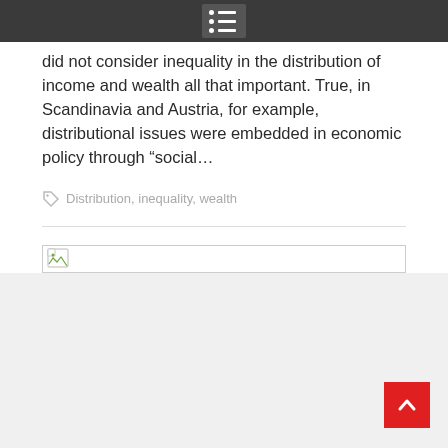did not consider inequality in the distribution of income and wealth all that important. True, in Scandinavia and Austria, for example, distributional issues were embedded in economic policy through “social…
Distribution, inequality, wealth
[Figure (other): Broken image placeholder icon]
[Figure (other): Back to top arrow button (red)]